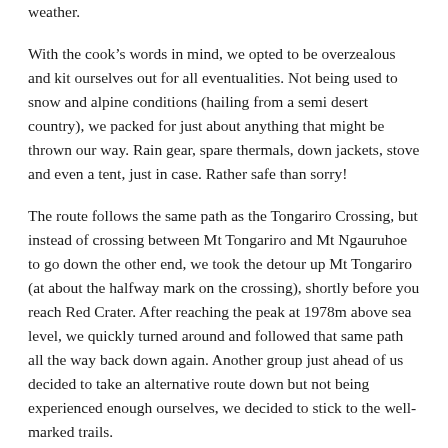weather.
With the cook's words in mind, we opted to be overzealous and kit ourselves out for all eventualities. Not being used to snow and alpine conditions (hailing from a semi desert country), we packed for just about anything that might be thrown our way. Rain gear, spare thermals, down jackets, stove and even a tent, just in case. Rather safe than sorry!
The route follows the same path as the Tongariro Crossing, but instead of crossing between Mt Tongariro and Mt Ngauruhoe to go down the other end, we took the detour up Mt Tongariro (at about the halfway mark on the crossing), shortly before you reach Red Crater. After reaching the peak at 1978m above sea level, we quickly turned around and followed that same path all the way back down again. Another group just ahead of us decided to take an alternative route down but not being experienced enough ourselves, we decided to stick to the well-marked trails.